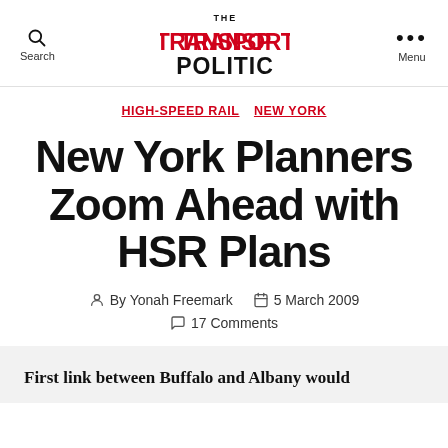THE TRANSPORT POLITIC — Search | Menu
HIGH-SPEED RAIL  NEW YORK
New York Planners Zoom Ahead with HSR Plans
By Yonah Freemark  5 March 2009  17 Comments
First link between Buffalo and Albany would